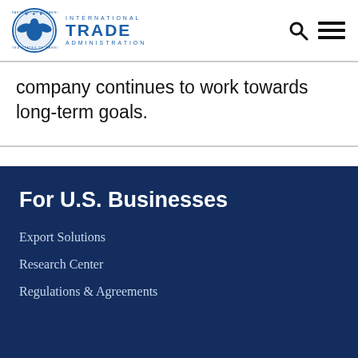International Trade Administration
company continues to work towards long-term goals.
For U.S. Businesses
Export Solutions
Research Center
Regulations & Agreements